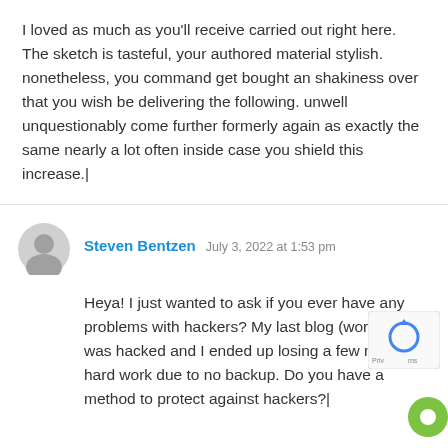I loved as much as you'll receive carried out right here. The sketch is tasteful, your authored material stylish. nonetheless, you command get bought an shakiness over that you wish be delivering the following. unwell unquestionably come further formerly again as exactly the same nearly a lot often inside case you shield this increase.|
Steven Bentzen  July 3, 2022 at 1:53 pm
Heya! I just wanted to ask if you ever have any problems with hackers? My last blog (word was hacked and I ended up losing a few mo hard work due to no backup. Do you have a method to protect against hackers?|